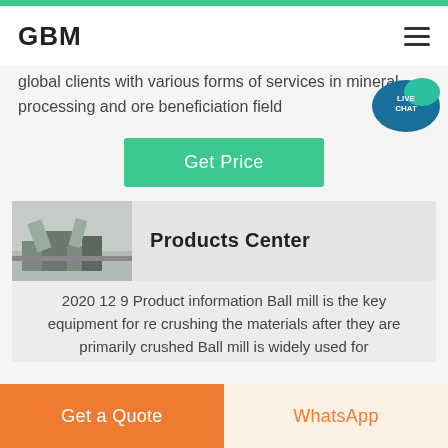GBM
global clients with various forms of services in mineral processing and ore beneficiation field
Get Price
[Figure (photo): Photograph of a mining or crushing facility with machinery and structures]
Products Center
2020 12 9 Product information Ball mill is the key equipment for re crushing the materials after they are primarily crushed Ball mill is widely used for
Get a Quote | WhatsApp